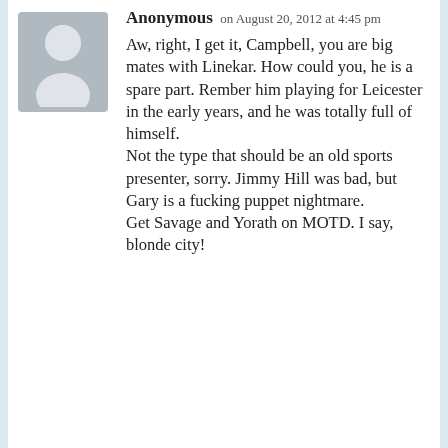[Figure (illustration): Gray silhouette avatar placeholder image for anonymous user]
Anonymous on August 20, 2012 at 4:45 pm
Aw, right, I get it, Campbell, you are big mates with Linekar. How could you, he is a spare part. Rember him playing for Leicester in the early years, and he was totally full of himself.
Not the type that should be an old sports presenter, sorry. Jimmy Hill was bad, but Gary is a fucking puppet nightmare.
Get Savage and Yorath on MOTD. I say, blonde city!